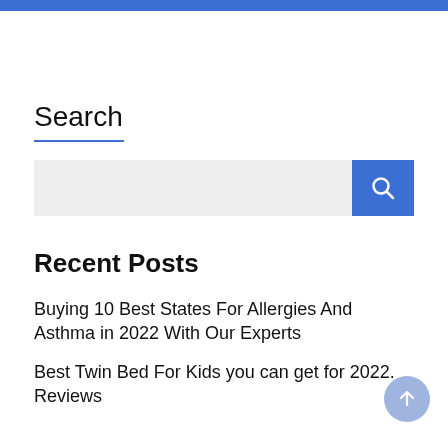Search
[Figure (other): Search input box with blue search button containing a magnifying glass icon]
Recent Posts
Buying 10 Best States For Allergies And Asthma in 2022 With Our Experts
Best Twin Bed For Kids you can get for 2022. Reviews